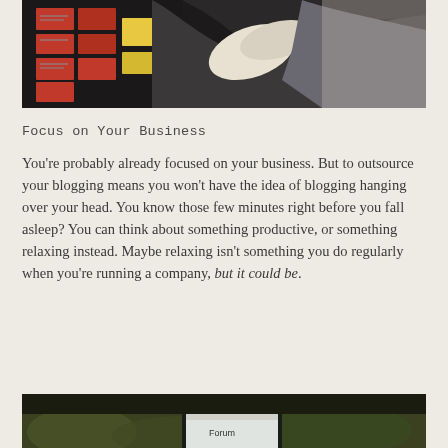[Figure (photo): Photo of people at a board with sticky notes, one person pointing or gesturing toward the board with colorful red and yellow sticky notes visible]
Focus on Your Business
You're probably already focused on your business. But to outsource your blogging means you won't have the idea of blogging hanging over your head. You know those few minutes right before you fall asleep? You can think about something productive, or something relaxing instead. Maybe relaxing isn't something you do regularly when you're running a company, but it could be.
[Figure (photo): Partial photo visible at bottom of page, appears to show a laptop or screen in an outdoor or natural setting]